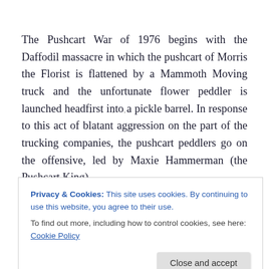The Pushcart War of 1976 begins with the Daffodil massacre in which the pushcart of Morris the Florist is flattened by a Mammoth Moving truck and the unfortunate flower peddler is launched headfirst into a pickle barrel. In response to this act of blatant aggression on the part of the trucking companies, the pushcart peddlers go on the offensive, led by Maxie Hammerman (the Pushcart King)
Privacy & Cookies: This site uses cookies. By continuing to use this website, you agree to their use. To find out more, including how to control cookies, see here: Cookie Policy
campaign, the peddlers bring the trucks to a standstill,